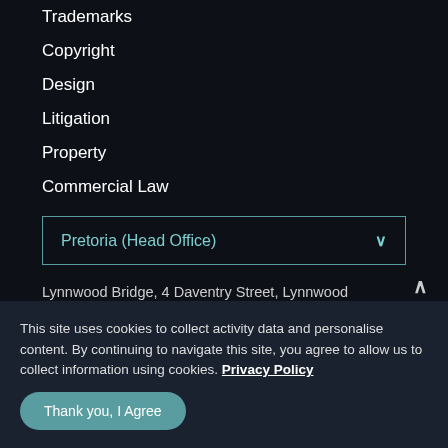Trademarks
Copyright
Design
Litigation
Property
Commercial Law
Pretoria (Head Office)
Lynnwood Bridge, 4 Daventry Street, Lynnwood Manor Pretoria, 0081, South Africa
Call: +27 12 432 6000 Email: mail@adams.africa
This site uses cookies to collect activity data and personalise content. By continuing to navigate this site, you agree to allow us to collect information using cookies. Privacy Policy
Thank you, I Agree